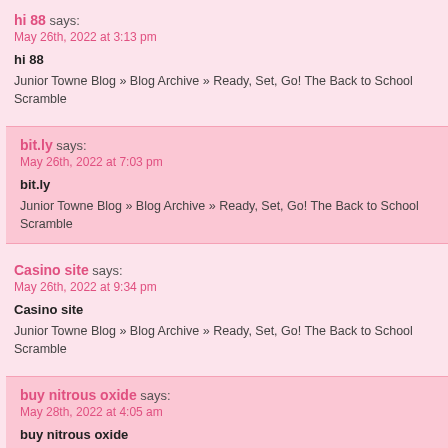hi 88 says:
May 26th, 2022 at 3:13 pm
hi 88
Junior Towne Blog » Blog Archive » Ready, Set, Go! The Back to School Scramble
bit.ly says:
May 26th, 2022 at 7:03 pm
bit.ly
Junior Towne Blog » Blog Archive » Ready, Set, Go! The Back to School Scramble
Casino site says:
May 26th, 2022 at 9:34 pm
Casino site
Junior Towne Blog » Blog Archive » Ready, Set, Go! The Back to School Scramble
buy nitrous oxide says:
May 28th, 2022 at 4:05 am
buy nitrous oxide
Junior Towne Blog » Blog Archive » Ready, Set, Go! The Back to School Scramble
Schadeauto verkopen says: